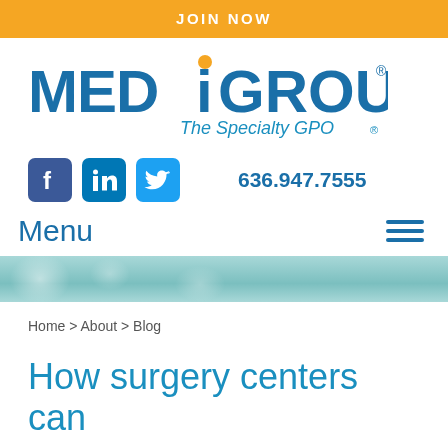JOIN NOW
[Figure (logo): MEDiGROUP The Specialty GPO logo — blue bold text with orange dot on the i]
636.947.7555
Menu
[Figure (illustration): Teal/light blue decorative banner with soft circular light bokeh effect]
Home > About > Blog
How surgery centers can